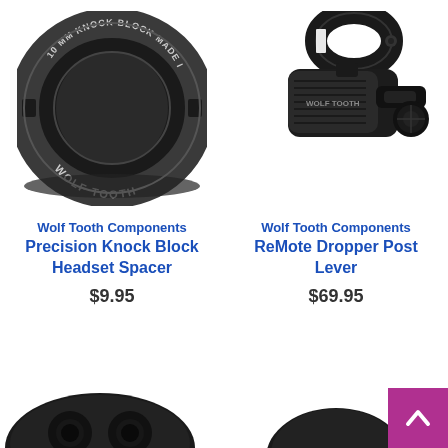[Figure (photo): Wolf Tooth Components Precision Knock Block Headset Spacer - black circular ring with text '10 MM KNOCK BLOCK MADE IN USA' and 'WOLF TOOTH']
Wolf Tooth Components
Precision Knock Block
Headset Spacer
$9.95
[Figure (photo): Wolf Tooth Components ReMote Dropper Post Lever - black lever mechanism with clamp and adjustment knob]
Wolf Tooth Components
ReMote Dropper Post
Lever
$69.95
[Figure (photo): Partial view of a black bicycle component at bottom left]
[Figure (photo): Partial view of a bicycle component at bottom right]